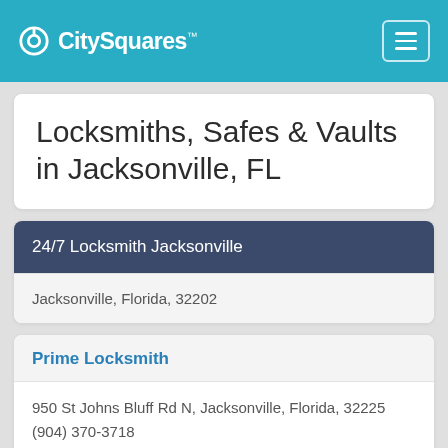CitySquares
Locksmiths, Safes & Vaults in Jacksonville, FL
24/7 Locksmith Jacksonville
Jacksonville, Florida, 32202
Prime Locksmith
950 St Johns Bluff Rd N, Jacksonville, Florida, 32225
(904) 370-3718